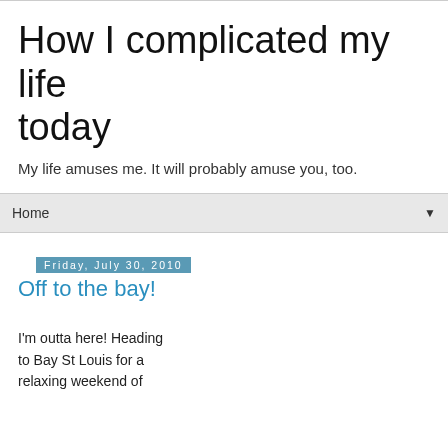How I complicated my life today
My life amuses me. It will probably amuse you, too.
Home
Friday, July 30, 2010
Off to the bay!
I'm outta here! Heading to Bay St Louis for a relaxing weekend of
[Figure (photo): Photo of a woman with dark hair and sunglasses standing on a beach with water and sky in the background]